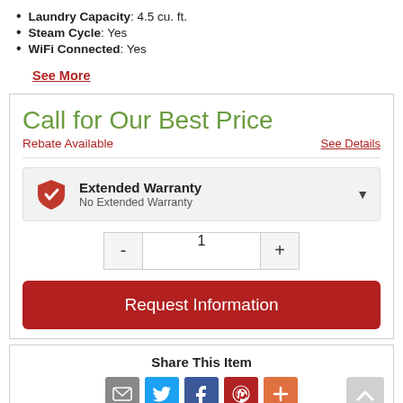Laundry Capacity: 4.5 cu. ft.
Steam Cycle: Yes
WiFi Connected: Yes
See More
Call for Our Best Price
Rebate Available
See Details
Extended Warranty
No Extended Warranty
1
Request Information
Share This Item
[Figure (infographic): Social share icons: email, Twitter, Facebook, Pinterest, More]